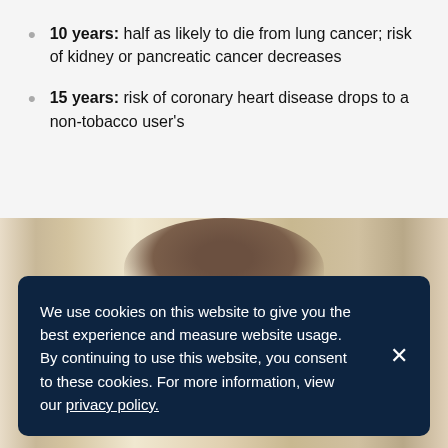10 years: half as likely to die from lung cancer; risk of kidney or pancreatic cancer decreases
15 years: risk of coronary heart disease drops to a non-tobacco user's
[Figure (photo): Photo of a person partially visible behind a cookie consent banner overlay]
We use cookies on this website to give you the best experience and measure website usage. By continuing to use this website, you consent to these cookies. For more information, view our privacy policy.